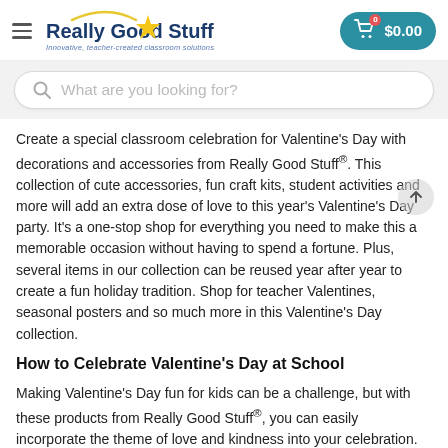Really Good Stuff — Innovative, teacher-created classroom solutions | Cart $0.00
[Figure (screenshot): Really Good Stuff website header with logo (star icon, arc), hamburger menu, and teal cart button showing $0.00]
[Figure (screenshot): Search bar with magnifying glass icon and placeholder text 'What are you looking for?']
Create a special classroom celebration for Valentine's Day with decorations and accessories from Really Good Stuff®. This collection of cute accessories, fun craft kits, student activities and more will add an extra dose of love to this year's Valentine's Day party. It's a one-stop shop for everything you need to make this a memorable occasion without having to spend a fortune. Plus, several items in our collection can be reused year after year to create a fun holiday tradition. Shop for teacher Valentines, seasonal posters and so much more in this Valentine's Day collection.
How to Celebrate Valentine's Day at School
Making Valentine's Day fun for kids can be a challenge, but with these products from Really Good Stuff®, you can easily incorporate the theme of love and kindness into your celebration. Look for Valentines from teachers so that every kid receives a note about how they are doing this special day. You can also look to...